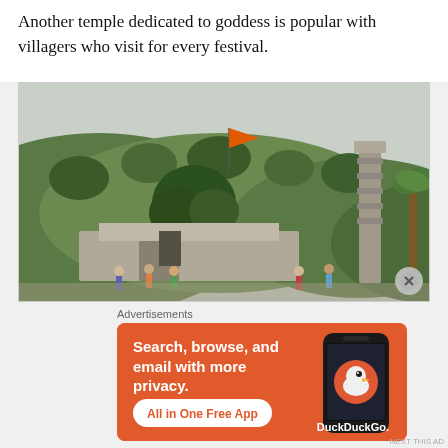Another temple dedicated to goddess is popular with villagers who visit for every festival.
[Figure (photo): Outdoor photo of a Hindu temple with a tall ornate stone pillar/column on the right, a large tree in the center, hills with forest in the background, an orange flag on a pole, and visitors gathered near the temple entrance.]
Advertisements
[Figure (infographic): DuckDuckGo advertisement banner in orange. Text reads: Search, browse, and email with more privacy. All in One Free App. Shows a smartphone with the DuckDuckGo app and logo.]